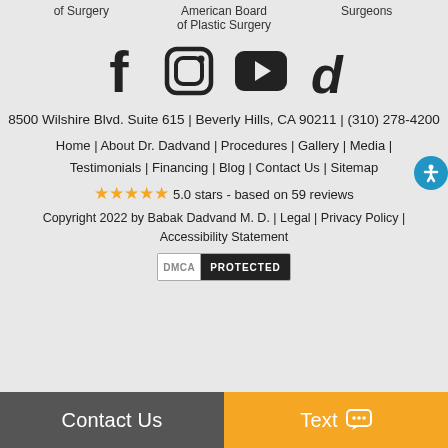of Surgery | American Board of Plastic Surgery | Surgeons
[Figure (illustration): Social media icons: Facebook, Instagram, YouTube, TikTok]
8500 Wilshire Blvd. Suite 615 | Beverly Hills, CA 90211 | (310) 278-4200
Home | About Dr. Dadvand | Procedures | Gallery | Media | Testimonials | Financing | Blog | Contact Us | Sitemap
★★★★★ 5.0 stars - based on 59 reviews
Copyright 2022 by Babak Dadvand M. D. | Legal | Privacy Policy | Accessibility Statement
[Figure (logo): DMCA PROTECTED badge]
Contact Us | Text